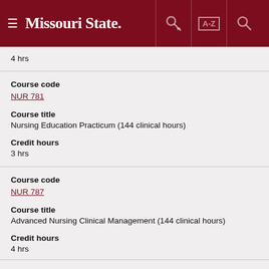Missouri State
4 hrs
Course code
NUR 781
Course title
Nursing Education Practicum (144 clinical hours)
Credit hours
3 hrs
Course code
NUR 787
Course title
Advanced Nursing Clinical Management (144 clinical hours)
Credit hours
4 hrs